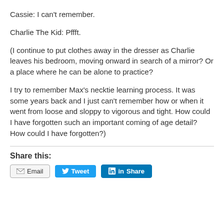Cassie: I can't remember.
Charlie The Kid: Pffft.
(I continue to put clothes away in the dresser as Charlie leaves his bedroom, moving onward in search of a mirror? Or a place where he can be alone to practice?
I try to remember Max's necktie learning process. It was some years back and I just can't remember how or when it went from loose and sloppy to vigorous and tight. How could I have forgotten such an important coming of age detail? How could I have forgotten?)
Share this:
Email  Tweet  Share